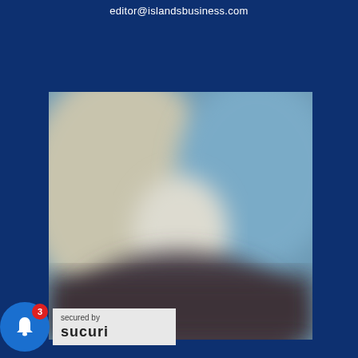editor@islandsbusiness.com
[Figure (photo): Blurred photograph of a person, showing a silhouetted dark figure against a beige/cream and blue background, heavily blurred for privacy or effect.]
[Figure (screenshot): Sucuri security badge overlay at bottom left, reading 'secured by Sucuri' with a notification bell icon showing badge count 3.]